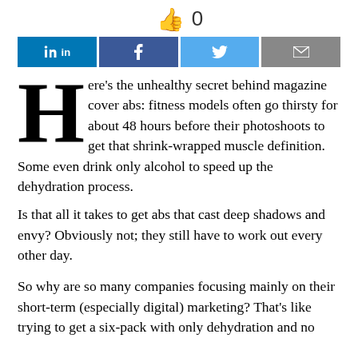[Figure (infographic): Thumbs up icon with the number 0 beside it, representing a like count.]
[Figure (infographic): Social sharing buttons: LinkedIn (blue), Facebook (dark blue), Twitter (light blue), Email (gray).]
Here’s the unhealthy secret behind magazine cover abs: fitness models often go thirsty for about 48 hours before their photoshoots to get that shrink-wrapped muscle definition. Some even drink only alcohol to speed up the dehydration process.
Is that all it takes to get abs that cast deep shadows and envy? Obviously not; they still have to work out every other day.
So why are so many companies focusing mainly on their short-term (especially digital) marketing? That’s like trying to get a six-pack with only dehydration and no